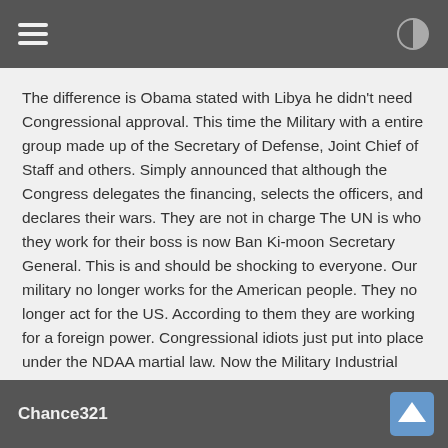The difference is Obama stated with Libya he didn't need Congressional approval. This time the Military with a entire group made up of the Secretary of Defense, Joint Chief of Staff and others. Simply announced that although the Congress delegates the financing, selects the officers, and declares their wars. They are not in charge The UN is who they work for their boss is now Ban Ki-moon Secretary General. This is and should be shocking to everyone. Our military no longer works for the American people. They no longer act for the US. According to them they are working for a foreign power. Congressional idiots just put into place under the NDAA martial law. Now the Military Industrial Complex have admitted they are foreign invaders. They have declared the US a battle ground and the military is a foreign power. If anyone has kept up with the atrocities being committed by this same Military Industrial Complex. Do you actually believe we will be treated any different?
Chance321